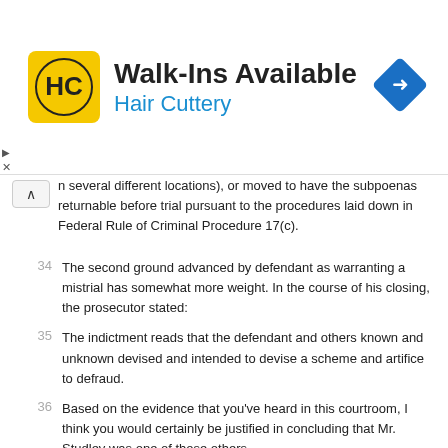[Figure (advertisement): Hair Cuttery advertisement banner with logo, 'Walk-Ins Available' headline, and navigation arrow icon]
n several different locations), or moved to have the subpoenas returnable before trial pursuant to the procedures laid down in Federal Rule of Criminal Procedure 17(c).
34 The second ground advanced by defendant as warranting a mistrial has somewhat more weight. In the course of his closing, the prosecutor stated:
35 The indictment reads that the defendant and others known and unknown devised and intended to devise a scheme and artifice to defraud.
36 Based on the evidence that you've heard in this courtroom, I think you would certainly be justified in concluding that Mr. Studley was one of those others....
37 We certainly do not condone Mr. Studley's actions either in this case or in any prior proceedings or matters that have been testified to